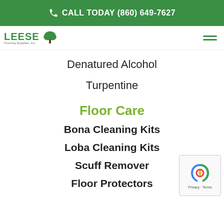CALL TODAY (860) 649-7627
[Figure (logo): Leese Flooring Supplies Inc. logo with green tree icon]
Denatured Alcohol
Turpentine
Floor Care
Bona Cleaning Kits
Loba Cleaning Kits
Scuff Remover
Floor Protectors
[Figure (other): reCAPTCHA widget with Privacy and Terms links]